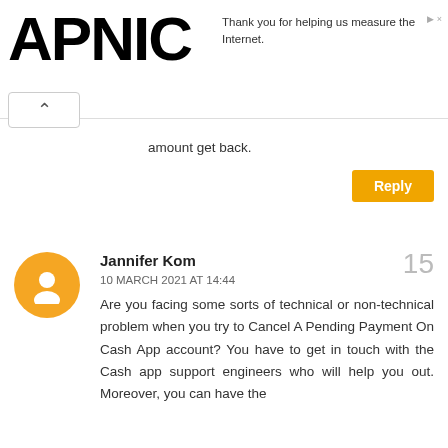APNIC — Thank you for helping us measure the Internet.
amount get back.
Reply
Jannifer Kom
10 MARCH 2021 AT 14:44
Are you facing some sorts of technical or non-technical problem when you try to Cancel A Pending Payment On Cash App account? You have to get in touch with the Cash app support engineers who will help you out. Moreover, you can have the